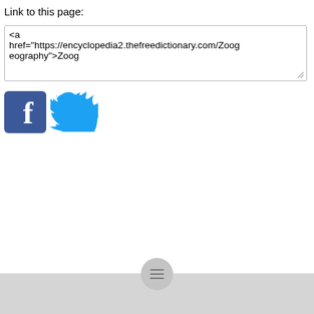Link to this page:
<a href="https://encyclopedia2.thefreedictionary.com/Zoogeography">Zoogeography</a>
[Figure (logo): Facebook logo icon - blue square with white letter f]
[Figure (logo): Twitter logo icon - light blue bird]
[Figure (other): Footer bar with hamburger menu circle button]